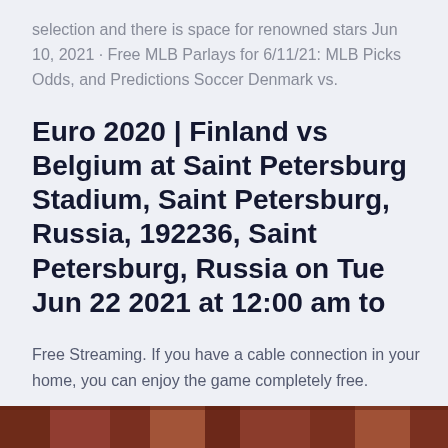selection and there is space for renowned stars Jun 10, 2021 · Free MLB Parlays for 6/11/21: MLB Picks Odds, and Predictions Soccer Denmark vs.
Euro 2020 | Finland vs Belgium at Saint Petersburg Stadium, Saint Petersburg, Russia, 192236, Saint Petersburg, Russia on Tue Jun 22 2021 at 12:00 am to
Free Streaming. If you have a cable connection in your home, you can enjoy the game completely free.
[Figure (photo): Bottom strip of a photo showing a stadium or sports venue interior with brown/reddish tones, partially visible]